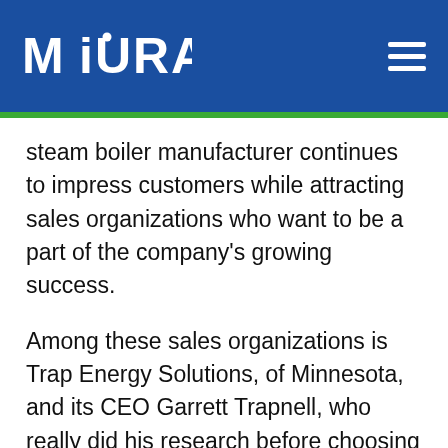MIURA
steam boiler manufacturer continues to impress customers while attracting sales organizations who want to be a part of the company’s growing success.
Among these sales organizations is Trap Energy Solutions, of Minnesota, and its CEO Garrett Trapnell, who really did his research before choosing Miura over all the other steam boiler manufacturers.